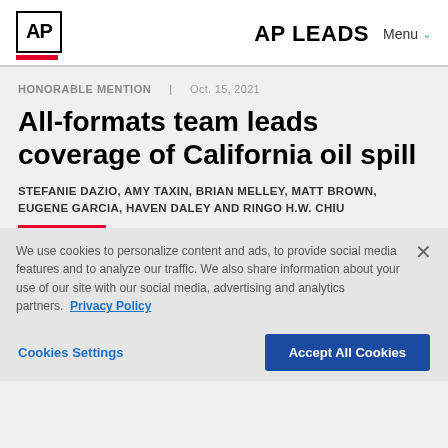AP LEADS  Menu
HONORABLE MENTION  Oct. 15, 2021
All-formats team leads coverage of California oil spill
STEFANIE DAZIO, AMY TAXIN, BRIAN MELLEY, MATT BROWN, EUGENE GARCIA, HAVEN DALEY AND RINGO H.W. CHIU
We use cookies to personalize content and ads, to provide social media features and to analyze our traffic. We also share information about your use of our site with our social media, advertising and analytics partners. Privacy Policy
Cookies Settings  Accept All Cookies